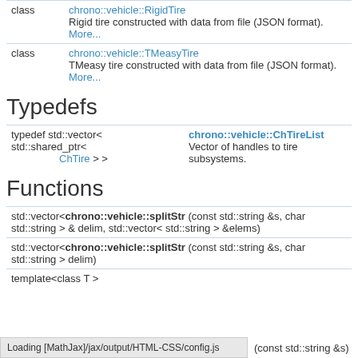| class | chrono::vehicle::RigidTire
Rigid tire constructed with data from file (JSON format). More... |
| class | chrono::vehicle::TMeasyTire
TMeasy tire constructed with data from file (JSON format). More... |
Typedefs
| typedef std::vector< std::shared_ptr<
ChTire > > | chrono::vehicle::ChTireList
Vector of handles to tire subsystems. |
Functions
| std::vector<chrono::vehicle::splitStr (const std::string &s, char std::string > & delim, std::vector< std::string > &elems) |  |
| std::vector<chrono::vehicle::splitStr (const std::string &s, char std::string > delim) |  |
| template<class T > | (const std::string &s) |
Loading [MathJax]/jax/output/HTML-CSS/config.js
(const std::string &s)